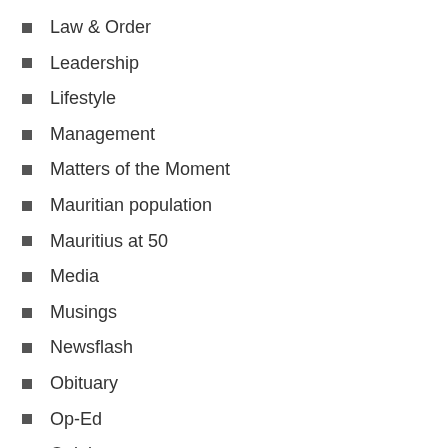Law & Order
Leadership
Lifestyle
Management
Matters of the Moment
Mauritian population
Mauritius at 50
Media
Musings
Newsflash
Obituary
Op-Ed
Opinion
Other Voices
Poem
Political Caricatures
Politics